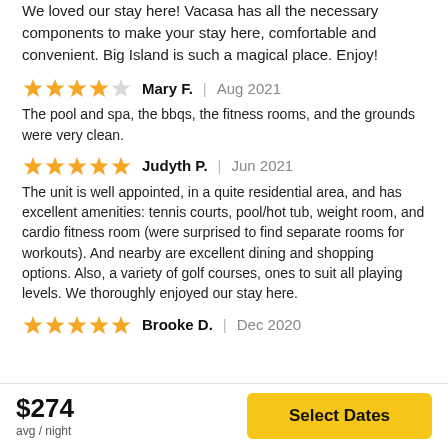We loved our stay here! Vacasa has all the necessary components to make your stay here, comfortable and convenient. Big Island is such a magical place. Enjoy!
★★★★☆ Mary F. | Aug 2021
The pool and spa, the bbqs, the fitness rooms, and the grounds were very clean.
★★★★★ Judyth P. | Jun 2021
The unit is well appointed, in a quite residential area, and has excellent amenities: tennis courts, pool/hot tub, weight room, and cardio fitness room (were surprised to find separate rooms for workouts). And nearby are excellent dining and shopping options. Also, a variety of golf courses, ones to suit all playing levels. We thoroughly enjoyed our stay here.
★★★★★ Brooke D. | Dec 2020
$274
avg / night
Select Dates